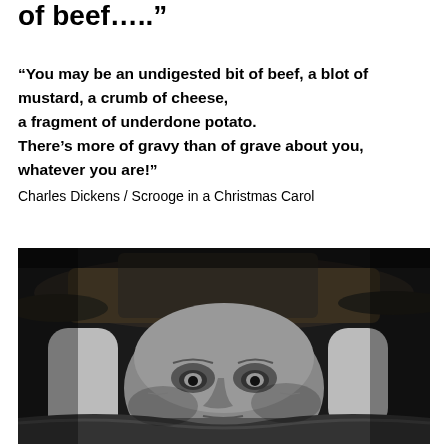of beef….."
“You may be an undigested bit of beef, a blot of mustard, a crumb of cheese, a fragment of underdone potato. There’s more of gravy than of grave about you, whatever you are!”
Charles Dickens / Scrooge in a Christmas Carol
[Figure (photo): Black and white photograph of an elderly man portraying Scrooge, wearing a battered top hat and thick coat, looking intensely at the camera]